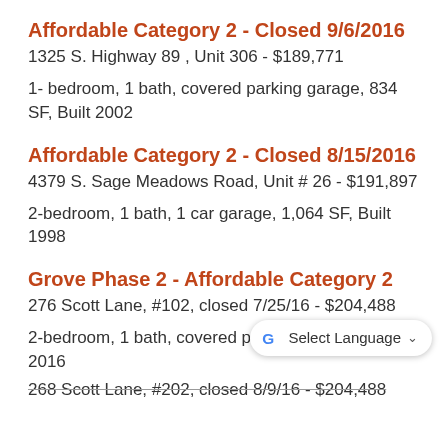Affordable Category 2 - Closed 9/6/2016
1325 S. Highway 89 , Unit 306 - $189,771
1- bedroom, 1 bath, covered parking garage, 834 SF, Built 2002
Affordable Category 2 - Closed 8/15/2016
4379 S. Sage Meadows Road, Unit # 26 - $191,897
2-bedroom, 1 bath, 1 car garage, 1,064 SF, Built 1998
Grove Phase 2 - Affordable Category 2
276 Scott Lane, #102, closed 7/25/16 - $204,488
2-bedroom, 1 bath, covered parking, 1,179 SF, Built 2016
268 Scott Lane, #202, closed 8/9/16 - $204,488